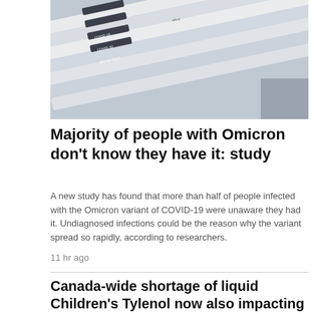[Figure (photo): COVID-19 rapid antigen test swabs and packaging, multiple test kits stacked together]
Majority of people with Omicron don't know they have it: study
A new study has found that more than half of people infected with the Omicron variant of COVID-19 were unaware they had it. Undiagnosed infections could be the reason why the variant spread so rapidly, according to researchers.
11 hr ago
Canada-wide shortage of liquid Children's Tylenol now also impacting chewables
BREAKING | Ontario releases plan to stabilize health-care system amid bed and staffing